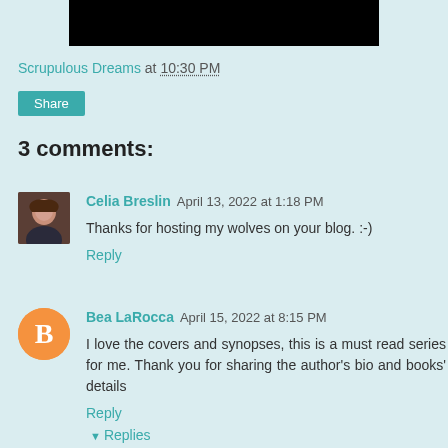[Figure (photo): Black redacted/blacked-out bar at the top of the page]
Scrupulous Dreams at 10:30 PM
Share
3 comments:
Celia Breslin April 13, 2022 at 1:18 PM
Thanks for hosting my wolves on your blog. :-)
Reply
Bea LaRocca April 15, 2022 at 8:15 PM
I love the covers and synopses, this is a must read series for me. Thank you for sharing the author's bio and books' details
Reply
Replies